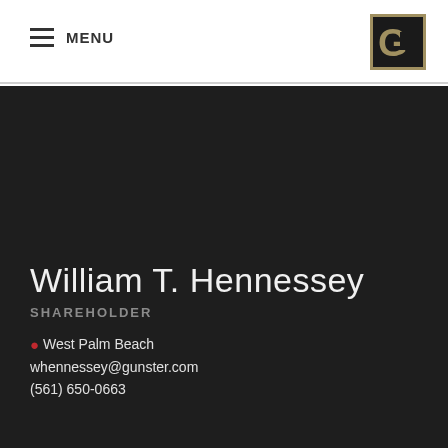MENU
[Figure (logo): Gunster law firm logo — dark bordered square with stylized G letter in gold/khaki on black background]
William T. Hennessey
SHAREHOLDER
West Palm Beach
whennessey@gunster.com
(561) 650-0663